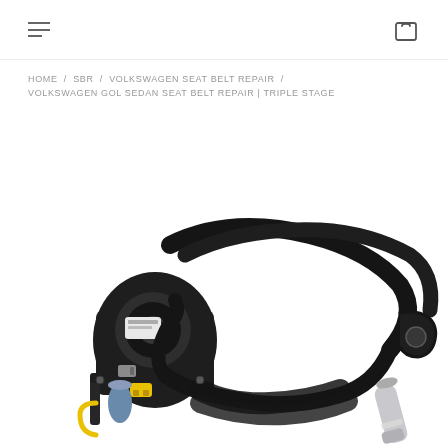navigation header with hamburger menu and cart icon
HOME / SBR / VOLKSWAGEN SEAT BELT REPAIR / VOLKSWAGEN GOL SEDAN SEAT BELT REPAIR | TRIPLE STAGE
[Figure (photo): Volkswagen seat belt assembly with retractor mechanism, black webbing, yellow and grey connectors, and buckle end, displayed on white background]